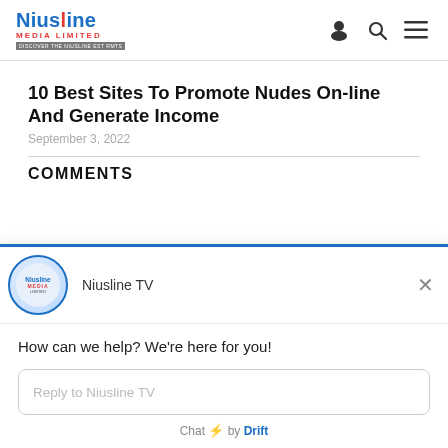Niusline Media Limited — navigation header with logo and icons
10 Best Sites To Promote Nudes On-line And Generate Income
September 3, 2022
COMMENTS
[Figure (screenshot): Niusline TV live chat widget showing avatar with logo, name 'Niusline TV', close button, message 'How can we help? We're here for you!', reply input field 'Reply to Niusline TV', and footer 'Chat by Drift']